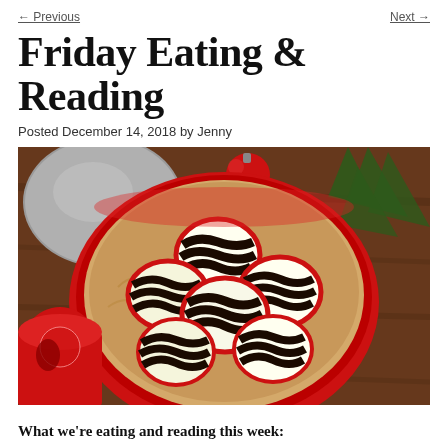← Previous    Next →
Friday Eating & Reading
Posted December 14, 2018 by Jenny
[Figure (photo): Overhead photo of a red bowl filled with black and white striped chocolate mint cookies with red edges, lined with brown parchment paper, on a wooden surface with Christmas decorations including a red ornament, pine branches, and a decorative tin.]
What we're eating and reading this week: